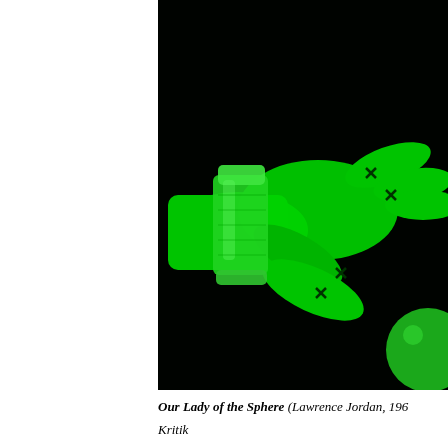[Figure (photo): A green-lit sculptural or artistic photograph showing a hand with elongated fingers grasping or touching a cylindrical object (like a pill bottle) against a pure black background. The image is rendered entirely in vivid green tones on black, giving it a night-vision or neon effect. A small round sphere is partially visible at the right edge and bottom.]
Our Lady of the Sphere (Lawrence Jordan, 196…
Kritik…